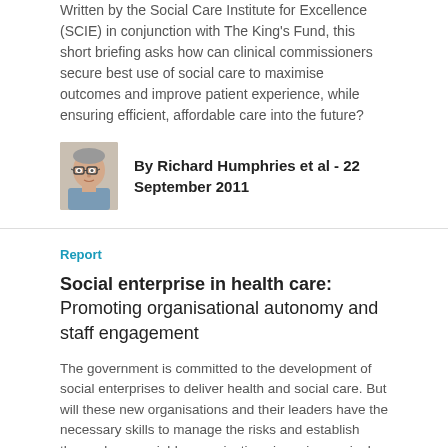Written by the Social Care Institute for Excellence (SCIE) in conjunction with The King's Fund, this short briefing asks how can clinical commissioners secure best use of social care to maximise outcomes and improve patient experience, while ensuring efficient, affordable care into the future?
By Richard Humphries et al - 22 September 2011
Report
Social enterprise in health care: Promoting organisational autonomy and staff engagement
The government is committed to the development of social enterprises to deliver health and social care. But will these new organisations and their leaders have the necessary skills to manage the risks and establish themselves as viable organisations in an increasingly competitive market?
By Rachael Addicott - 4 August 2011